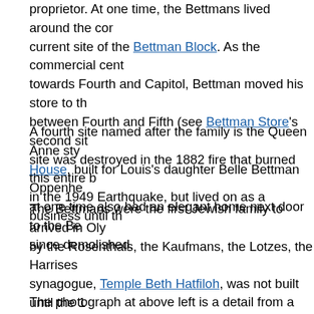proprietor. At one time, the Bettmans lived around the current site of the Bettman Block. As the commercial centre towards Fourth and Capitol, Bettman moved his store to between Fourth and Fifth (see Bettman Store's second site was destroyed in the 1882 fire that burned this entire in the 1949 Earthquake, but lived on as a business until the
A fourth site named after the family is the Queen Anne style House, built for Louis's daughter Belle Bettman Oppenheimer. at one time also had an elegant home next door to the Bettman since demolished.
The Bettmans were the first Jewish family to arrived in Olympia by the Rosenthals, the Kaufmans, the Lotzes, the Harrises synagogue, Temple Beth Hatfiloh, was not built until the 1890s close and in 1873 established the Jewish Benevolent Society cemetery.
The photograph at above left is a detail from a photograph